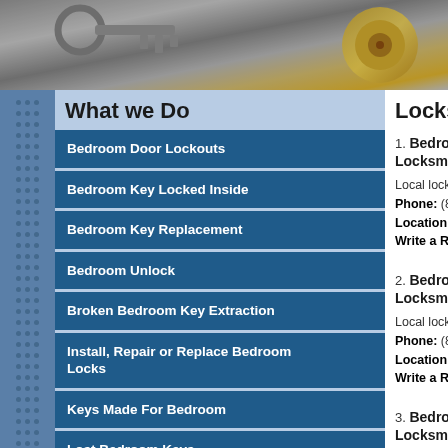[Figure (photo): Close-up photo of lock mechanisms and keys in grayscale/metallic tones]
What we Do
Bedroom Door Lockouts
Bedroom Key Locked Inside
Bedroom Key Replacement
Bedroom Unlock
Broken Bedroom Key Extraction
Install, Repair or Replace Bedroom Locks
Keys Made For Bedroom
Lost Bedroom Keys
Open Locked Bedroom
Re Key Bedroom Locks
Replace Lost Bedroom Keys
Locksmiths in
1. Bedroom Key Replacement Locksmith Service - Local locksmith of H... Phone: (888) 524-8... Location: Hauula H... Write a Review »
2. Bedroom Key Replacement Locksmith Service - Local locksmith of K... Phone: (888) 524-8... Location: Kailua Hi... Write a Review »
3. Bedroom Key Replacement Locksmith Service - Local locksmith of M... Phone: (888) 524-8... Location: Mililani H... Write a Review »